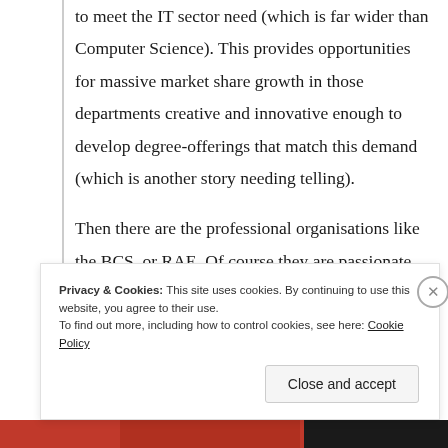to meet the IT sector need (which is far wider than Computer Science). This provides opportunities for massive market share growth in those departments creative and innovative enough to develop degree-offerings that match this demand (which is another story needing telling).

Then there are the professional organisations like the BCS, or RAE. Of course they are passionate about what they do, and seek every opportunity to promote it, and quite right too. But the higher their
Privacy & Cookies: This site uses cookies. By continuing to use this website, you agree to their use.
To find out more, including how to control cookies, see here: Cookie Policy
Close and accept